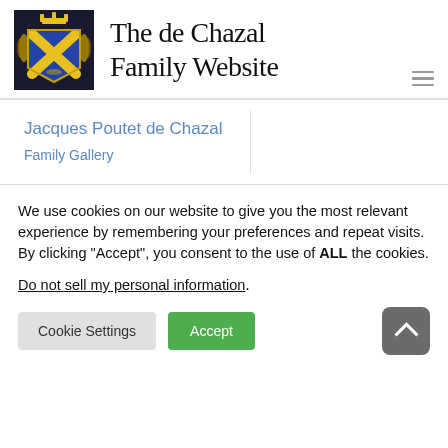[Figure (logo): Coat of arms showing a yellow/gold X on blue shield with a crown on top and ornate gold surrounding elements on dark background]
The de Chazal Family Website
Jacques Poutet de Chazal
Family Gallery
We use cookies on our website to give you the most relevant experience by remembering your preferences and repeat visits. By clicking “Accept”, you consent to the use of ALL the cookies.
Do not sell my personal information.